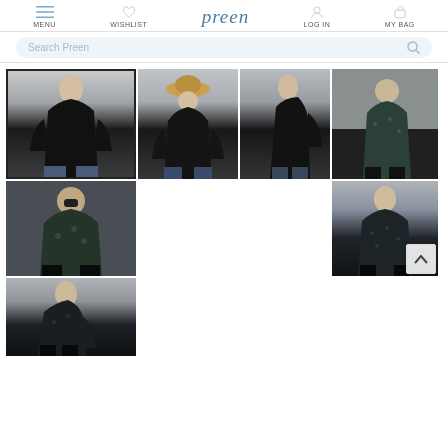MENU | WISHLIST | preen | LOG IN | MY BAG
Search Preen
[Figure (photo): Grid of fashion product photos showing women wearing black and dark patterned peplum blouses. First image (selected/highlighted) shows front view in black, second shows front with hat, third shows side view, fourth shows outdoor street style in teal print, fifth shows street style closeup in teal print, sixth shows back view in dark print, seventh shows side view in dark print.]